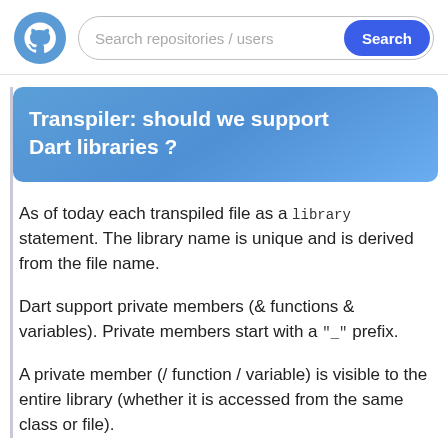Search repositories / users  Search
Transpiler: should we support Dart libraries ?
As of today each transpiled file as a library statement. The library name is unique and is derived from the file name.
Dart support private members (& functions & variables). Private members start with a "_" prefix.
A private member (/ function / variable) is visible to the entire library (whether it is accessed from the same class or file).